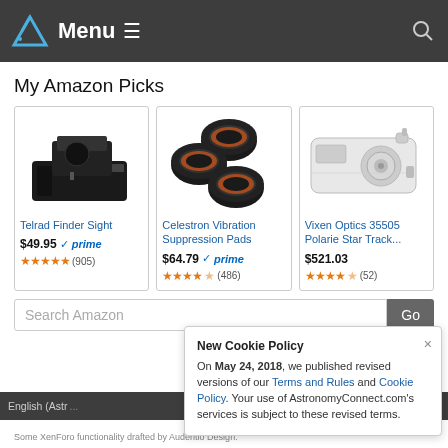Menu
My Amazon Picks
[Figure (photo): Telrad Finder Sight product photo - black telescope finder device]
Telrad Finder Sight
$49.95 prime (905)
[Figure (photo): Celestron Vibration Suppression Pads - three black circular pads with orange trim]
Celestron Vibration Suppression Pads
$64.79 prime (486)
[Figure (photo): Vixen Optics 35505 Polarie Star Tracker - white compact camera-like device]
Vixen Optics 35505 Polarie Star Track...
$521.03 (52)
Search Amazon
New Cookie Policy
On May 24, 2018, we published revised versions of our Terms and Rules and Cookie Policy. Your use of AstronomyConnect.com's services is subject to these revised terms.
English (Astr... | Contact Us | Help | Terms and Rules
Filter Re...
Some XenForo functionality drafted by Audentio Design.